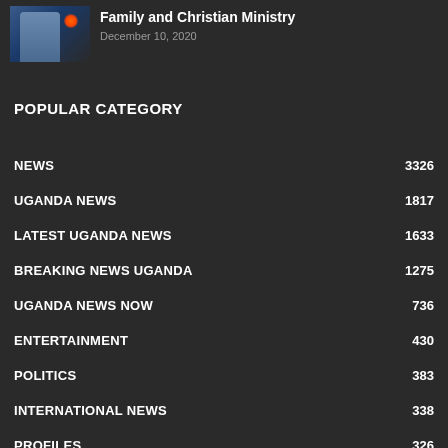[Figure (photo): Thumbnail image of a man in a blue shirt on a dark stage with an orange glowing orb]
Family and Christian Ministry
December 10, 2020
POPULAR CATEGORY
NEWS 3326
UGANDA NEWS 1817
LATEST UGANDA NEWS 1633
BREAKING NEWS UGANDA 1275
UGANDA NEWS NOW 736
ENTERTAINMENT 430
POLITICS 383
INTERNATIONAL NEWS 338
PROFILES 326